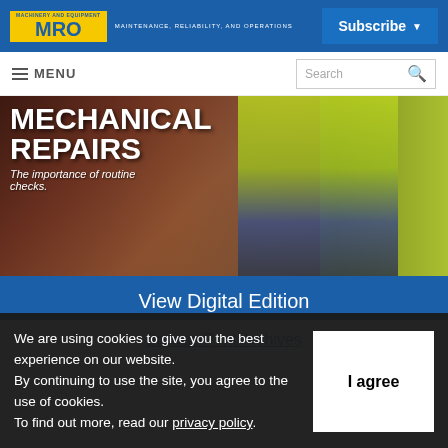MRO — MAINTENANCE, RELIABILITY, AND OPERATIONS | Subscribe
[Figure (screenshot): MRO magazine website screenshot showing header logo, navigation menu, hero image of mechanical repairs with worker in yellow vest, View Digital Edition button, Browse Print Archives bar, and cookie consent notice.]
≡ MENU
MECHANICAL REPAIRS
The importance of routine checks.
View Digital Edition
Browse Print Archives
We are using cookies to give you the best experience on our website.
By continuing to use the site, you agree to the use of cookies.
To find out more, read our privacy policy.